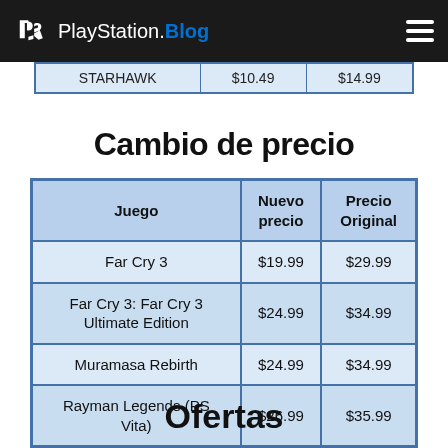PlayStation.Blog
|  |  |  |
| --- | --- | --- |
| STARHAWK | $10.49 | $14.99 |
Cambio de precio
| Juego | Nuevo precio | Precio Original |
| --- | --- | --- |
| Far Cry 3 | $19.99 | $29.99 |
| Far Cry 3: Far Cry 3 Ultimate Edition | $24.99 | $34.99 |
| Muramasa Rebirth | $24.99 | $34.99 |
| Rayman Legends (PS Vita) | $26.99 | $35.99 |
Ofertas